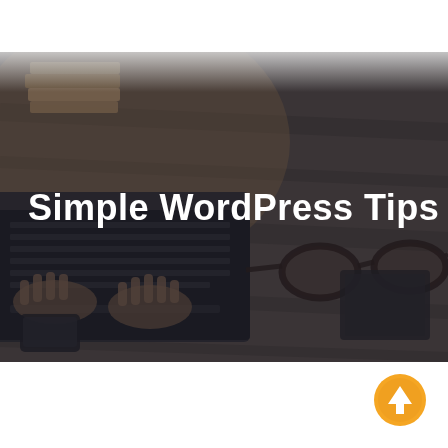[Figure (photo): A hero image showing a person typing on a laptop on a wooden desk, with glasses, books, and a smartphone visible. The image has a dark overlay/dimmed effect. Bold white text reads 'Simple WordPress Tips' overlaid on the center-left of the image.]
[Figure (illustration): An orange circular button/icon with an upward-pointing white arrow, positioned in the bottom-right area of the page.]